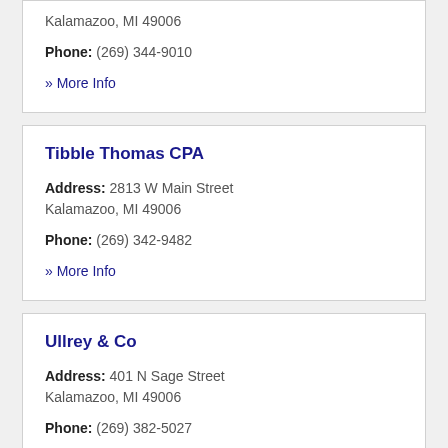Kalamazoo, MI 49006
Phone: (269) 344-9010
» More Info
Tibble Thomas CPA
Address: 2813 W Main Street Kalamazoo, MI 49006
Phone: (269) 342-9482
» More Info
Ullrey & Co
Address: 401 N Sage Street Kalamazoo, MI 49006
Phone: (269) 382-5027